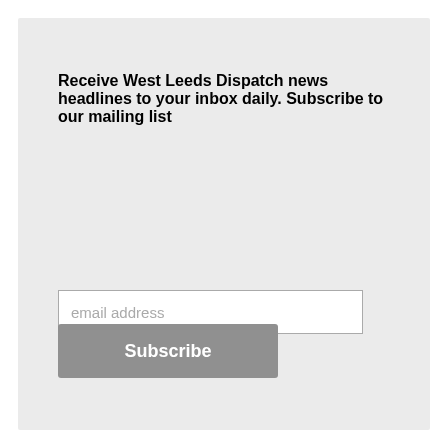Receive West Leeds Dispatch news headlines to your inbox daily. Subscribe to our mailing list
email address
Subscribe